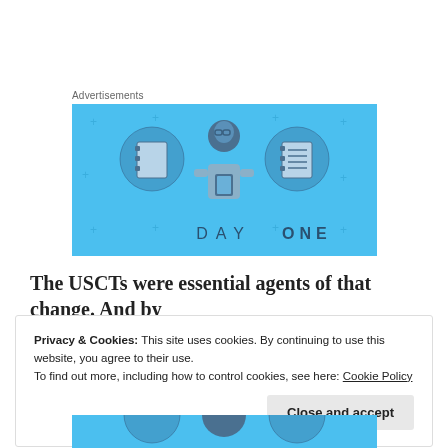Advertisements
[Figure (illustration): Day One app advertisement with blue background, showing a person holding a smartphone flanked by two circular icons — a blank notebook on the left and a lined notebook on the right. Text reads 'DAY ONE' at the bottom.]
The USCTs were essential agents of that change. And by
Privacy & Cookies: This site uses cookies. By continuing to use this website, you agree to their use.
To find out more, including how to control cookies, see here: Cookie Policy
[Figure (illustration): Partial bottom portion of Day One advertisement with blue background showing circular icons.]